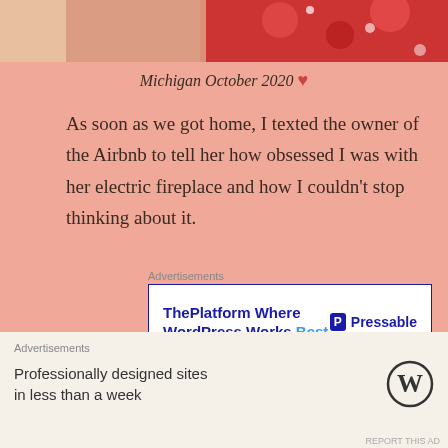[Figure (photo): Partial image at top showing a hand holding a red patterned fabric/stuffed animal]
Michigan October 2020 ♥
As soon as we got home, I texted the owner of the Airbnb to tell her how obsessed I was with her electric fireplace and how I couldn't stop thinking about it.
[Figure (screenshot): Advertisement banner: ThePlatform Where WordPress Works Best — Pressable]
And then on my birthday last year, I opened the BEST GIFT from my husband:
[Figure (screenshot): Advertisement: Professionally designed sites in less than a week — WordPress logo]